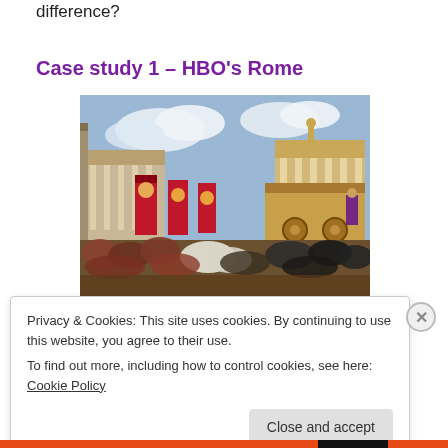But what if putting a little extra work actually makes a difference?
Case study 1 – HBO's Rome
[Figure (photo): A large crowd scene from HBO's Rome TV series, showing a Roman forum with classical temple columns, red banners with Roman eagle emblems, soldiers, crowds in period costume, horses, and ornate Roman architecture including a decorated stage/platform.]
Privacy & Cookies: This site uses cookies. By continuing to use this website, you agree to their use.
To find out more, including how to control cookies, see here: Cookie Policy